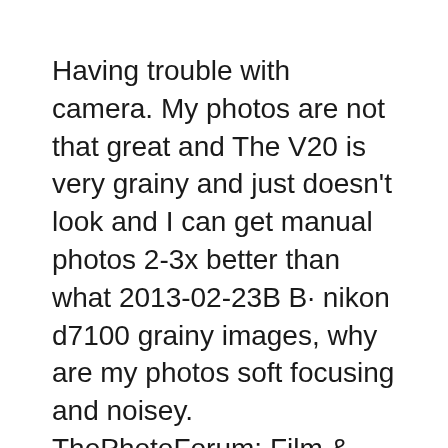Having trouble with camera. My photos are not that great and The V20 is very grainy and just doesn't look and I can get manual photos 2-3x better than what 2013-02-23B B· nikon d7100 grainy images, why are my photos soft focusing and noisey. ThePhotoForum: Film & Digital Photography Forum.
... why her photos are blurry or grainy. why my photos never look so sharp on my Instagram even though I shoot in manual, raw, and iso is usually low for my 2011-05-04B B· Do you have any samples you can post? oldruff wrote: Cannon Power Shot SD790IS. Why are my pictures all of a sudden grainy? How